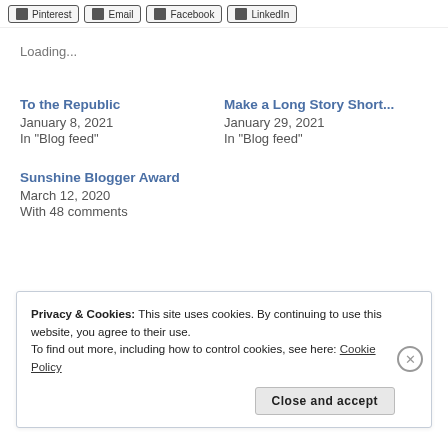Pinterest | Email | Facebook | LinkedIn
Loading...
To the Republic
January 8, 2021
In "Blog feed"
Make a Long Story Short...
January 29, 2021
In "Blog feed"
Sunshine Blogger Award
March 12, 2020
With 48 comments
Privacy & Cookies: This site uses cookies. By continuing to use this website, you agree to their use.
To find out more, including how to control cookies, see here: Cookie Policy
Close and accept